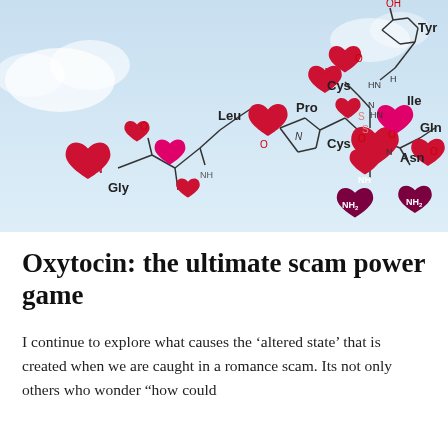[Figure (illustration): Oxytocin chemical structure diagram decorated with red and pink heart shapes overlaid on the molecular bonds and amino acid labels (Gly, Leu, Pro, Cys, Tyr, Ile, Gln, Asn) against a light blue cloudy background.]
Oxytocin: the ultimate scam power game
I continue to explore what causes the 'altered state' that is created when we are caught in a romance scam. Its not only others who wonder "how could